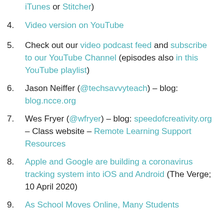4. Video version on YouTube
5. Check out our video podcast feed and subscribe to our YouTube Channel (episodes also in this YouTube playlist)
6. Jason Neiffer (@techsavvyteach) – blog: blog.ncce.org
7. Wes Fryer (@wfryer) – blog: speedofcreativity.org – Class website – Remote Learning Support Resources
8. Apple and Google are building a coronavirus tracking system into iOS and Android (The Verge; 10 April 2020)
9. As School Moves Online, Many Students